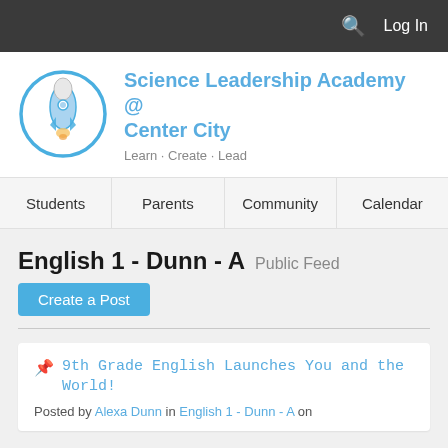Log In
[Figure (logo): Science Leadership Academy rocket logo — blue circle with rocket ship illustration]
Science Leadership Academy @ Center City
Learn · Create · Lead
Students | Parents | Community | Calendar
English 1 - Dunn - A  Public Feed
Create a Post
📌  9th Grade English Launches You and the World!
Posted by Alexa Dunn in English 1 - Dunn - A on